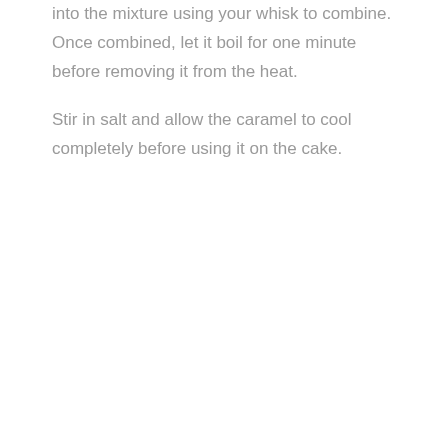into the mixture using your whisk to combine. Once combined, let it boil for one minute before removing it from the heat.
Stir in salt and allow the caramel to cool completely before using it on the cake.